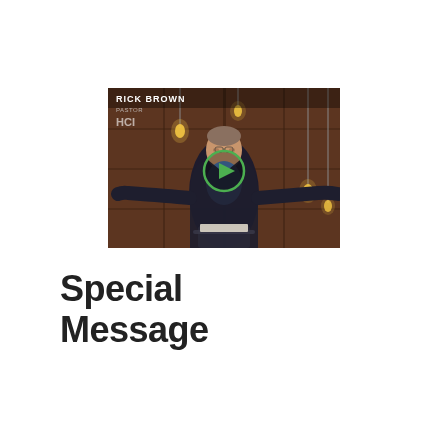[Figure (screenshot): Video thumbnail showing a man named Rick Brown speaking on stage with arms outstretched, wearing a dark blazer and blue shirt. The stage has warm Edison bulb lighting and brick-like backdrop. A green circular play button is overlaid in the center. Text 'RICK BROWN' appears in white in the upper left corner of the image.]
Special Message